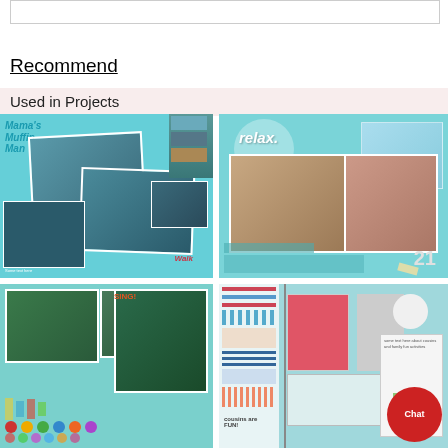Recommend
Used in Projects
[Figure (photo): Scrapbook page with teal background titled Mama's Muffin Man with multiple overlapping photos of a woman and child]
[Figure (photo): Scrapbook page with teal background titled 'relax.' with photos of woman in sunglasses and beach scene, number 21]
[Figure (photo): Scrapbook page with teal background, colorful dots/circles, and photos of children outdoors]
[Figure (photo): Scrapbook page with teal/colorful background, text 'cousins are fun', cards and decorative elements]